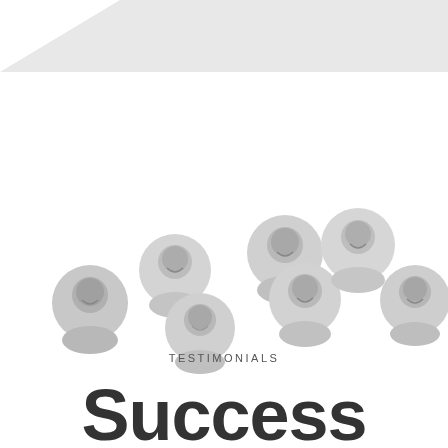[Figure (illustration): Diagonal light gray band at the top of the page, and seven circular avatar portraits of diverse people (grayscale) arranged loosely across the middle of the page.]
TESTIMONIALS
Success